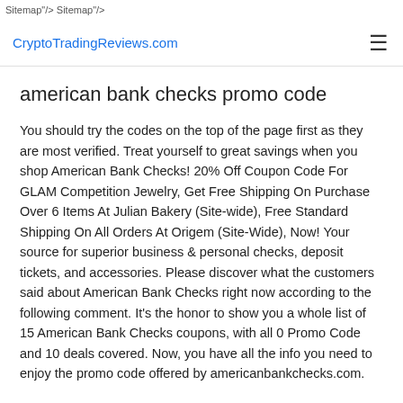Sitemap"/> Sitemap"/>
CryptoTradingReviews.com
american bank checks promo code
You should try the codes on the top of the page first as they are most verified. Treat yourself to great savings when you shop American Bank Checks! 20% Off Coupon Code For GLAM Competition Jewelry, Get Free Shipping On Purchase Over 6 Items At Julian Bakery (Site-wide), Free Standard Shipping On All Orders At Origem (Site-Wide), Now! Your source for superior business & personal checks, deposit tickets, and accessories. Please discover what the customers said about American Bank Checks right now according to the following comment. It's the honor to show you a whole list of 15 American Bank Checks coupons, with all 0 Promo Code and 10 deals covered. Now, you have all the info you need to enjoy the promo code offered by americanbankchecks.com.